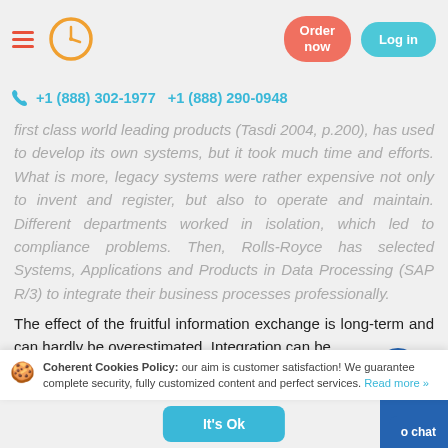☰ [clock icon] | Order now | Log in
+1 (888) 302-1977   +1 (888) 290-0948
first class world leading products (Tasdi 2004, p.200), has used to develop its own systems, but it took much time and efforts. What is more, legacy systems were rather expensive not only to invent and register, but also to operate and maintain. Different departments worked in isolation, which led to compliance problems. Then, Rolls-Royce has selected Systems, Applications and Products in Data Processing (SAP R/3) to integrate their business processes professionally.
The effect of the fruitful information exchange is long-term and can hardly be overestimated. Integration can be
Coherent Cookies Policy: our aim is customer satisfaction! We guarantee complete security, fully customized content and perfect services. Read more »
It's Ok